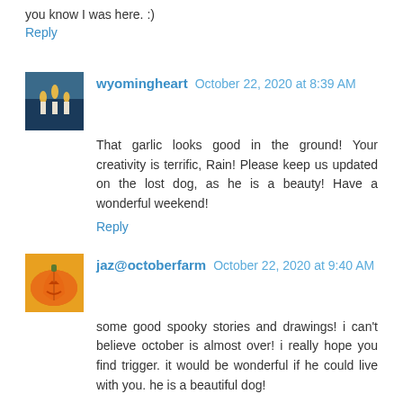you know I was here. :)
Reply
wyomingheart October 22, 2020 at 8:39 AM
That garlic looks good in the ground! Your creativity is terrific, Rain! Please keep us updated on the lost dog, as he is a beauty! Have a wonderful weekend!
Reply
jaz@octoberfarm October 22, 2020 at 9:40 AM
some good spooky stories and drawings! i can't believe october is almost over! i really hope you find trigger. it would be wonderful if he could live with you. he is a beautiful dog!
Reply
Mae Travels October 22, 2020 at 10:41 AM